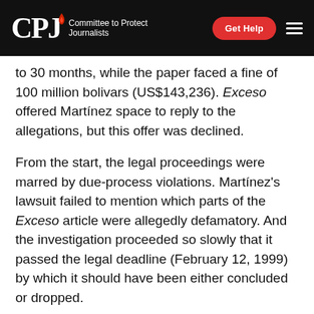CPJ — Committee to Protect Journalists | Get Help
to 30 months, while the paper faced a fine of 100 million bolivars (US$143,236). Exceso offered Martínez space to reply to the allegations, but this offer was declined.
From the start, the legal proceedings were marred by due-process violations. Martínez's lawsuit failed to mention which parts of the Exceso article were allegedly defamatory. And the investigation proceeded so slowly that it passed the legal deadline (February 12, 1999) by which it should have been either concluded or dropped.
In December 1999, Eibman and Nahmans filed on